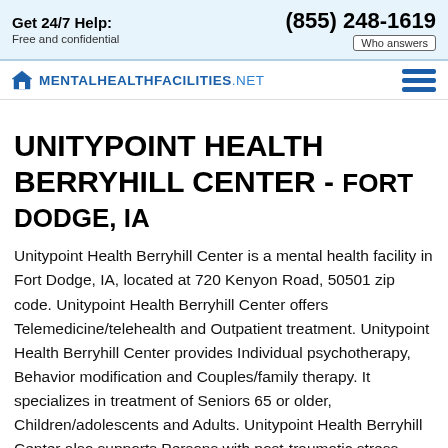Get 24/7 Help: Free and confidential | (855) 248-1619 | Who answers
[Figure (logo): MentalHealthFacilities.net logo with house icon and hamburger menu]
UNITYPOINT HEALTH BERRYHILL CENTER - FORT DODGE, IA
Unitypoint Health Berryhill Center is a mental health facility in Fort Dodge, IA, located at 720 Kenyon Road, 50501 zip code. Unitypoint Health Berryhill Center offers Telemedicine/telehealth and Outpatient treatment. Unitypoint Health Berryhill Center provides Individual psychotherapy, Behavior modification and Couples/family therapy. It specializes in treatment of Seniors 65 or older, Children/adolescents and Adults. Unitypoint Health Berryhill Center also supports Persons with post-traumatic stress disorder, Persons with co-occurring mental and substance